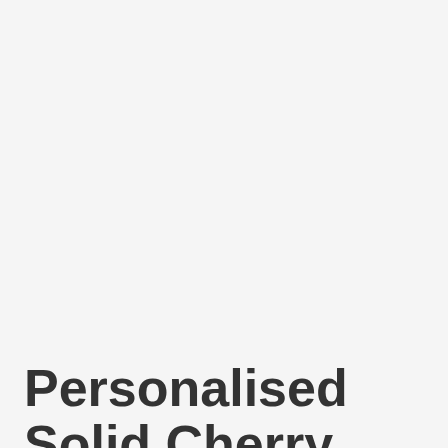[Figure (other): Small dark square bullet or icon element]
Personalised Solid Cherry Wood Mummy Daddy Pocket Key Ring